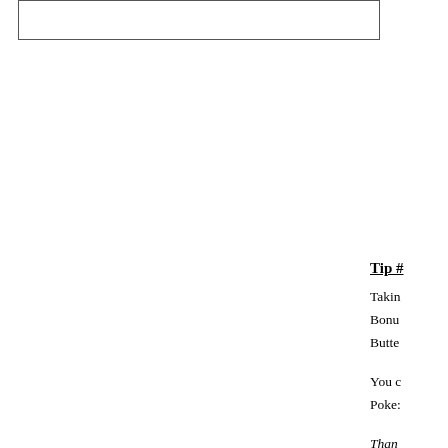[Figure (other): Empty bordered rectangle at top of page]
Tip #
Taking
Bonus
Butter
You c
Poke:
Than
Butter
of yo